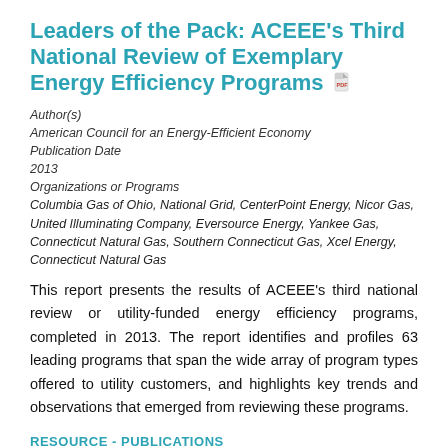Leaders of the Pack: ACEEE's Third National Review of Exemplary Energy Efficiency Programs
Author(s)
American Council for an Energy-Efficient Economy
Publication Date
2013
Organizations or Programs
Columbia Gas of Ohio, National Grid, CenterPoint Energy, Nicor Gas, United Illuminating Company, Eversource Energy, Yankee Gas, Connecticut Natural Gas, Southern Connecticut Gas, Xcel Energy, Connecticut Natural Gas
This report presents the results of ACEEE's third national review or utility-funded energy efficiency programs, completed in 2013. The report identifies and profiles 63 leading programs that span the wide array of program types offered to utility customers, and highlights key trends and observations that emerged from reviewing these programs.
RESOURCE - PUBLICATIONS